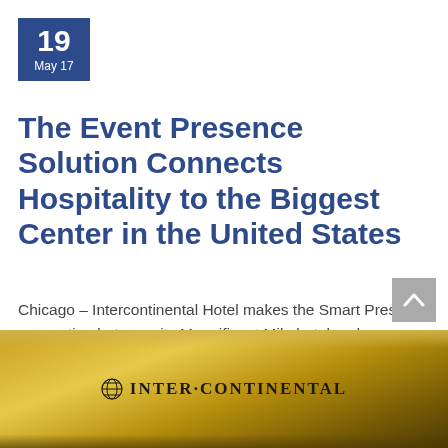19 May 17
The Event Presence Solution Connects Hospitality to the Biggest Center in the United States
Chicago – Intercontinental Hotel makes the Smart Presence connection between its Magnificent Mile hotel and McCormick Place utilizing the Beam and EP's brand ambassadors.
[Figure (photo): Gold/brass hotel sign reading INTER-CONTINENTAL with logo globe icon, photographed from below showing ornate curved architecture in warm gold tones]